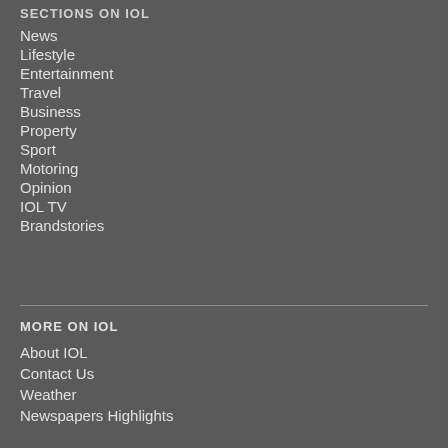SECTIONS ON IOL
News
Lifestyle
Entertainment
Travel
Business
Property
Sport
Motoring
Opinion
IOL TV
Brandstories
MORE ON IOL
About IOL
Contact Us
Weather
Newspapers Highlights